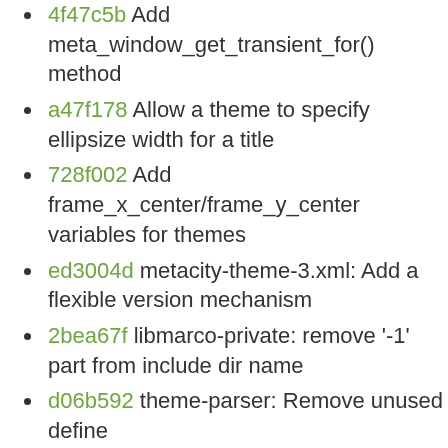4f47c5b Add meta_window_get_transient_for() method
a47f178 Allow a theme to specify ellipsize width for a title
728f002 Add frame_x_center/frame_y_center variables for themes
ed3004d metacity-theme-3.xml: Add a flexible version mechanism
2bea67f libmarco-private: remove '-1' part from include dir name
d06b592 theme-parser: Remove unused define
13e6a0d sync with transifex
4d70471 pre-bump version
04e564c Correct resize popup position on HiDPI displays
079c458 Fix frame geometry to avoid stuck resize cursor
81fdb55 Scale cursor size for HiDPI